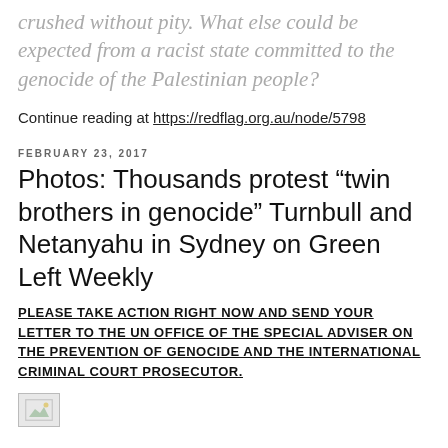that Hamas is a terrorist organisation to be crushed without pity. What else could be expected from a racist state committed to the genocide of the Palestinian people?
Continue reading at https://redflag.org.au/node/5798
FEBRUARY 23, 2017
Photos: Thousands protest “twin brothers in genocide” Turnbull and Netanyahu in Sydney on Green Left Weekly
PLEASE TAKE ACTION RIGHT NOW AND SEND YOUR LETTER TO THE UN OFFICE OF THE SPECIAL ADVISER ON THE PREVENTION OF GENOCIDE AND THE INTERNATIONAL CRIMINAL COURT PROSECUTOR.
[Figure (photo): Small image thumbnail placeholder at bottom of page]